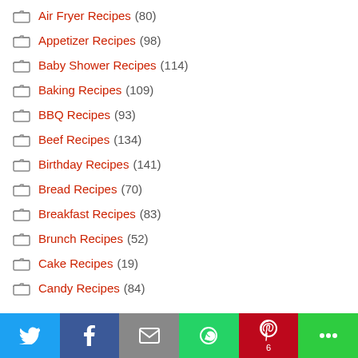Air Fryer Recipes (80)
Appetizer Recipes (98)
Baby Shower Recipes (114)
Baking Recipes (109)
BBQ Recipes (93)
Beef Recipes (134)
Birthday Recipes (141)
Bread Recipes (70)
Breakfast Recipes (83)
Brunch Recipes (52)
Cake Recipes (19)
Candy Recipes (84)
[Figure (infographic): Social sharing bar with Twitter, Facebook, Email, WhatsApp, Pinterest (6), and More buttons]